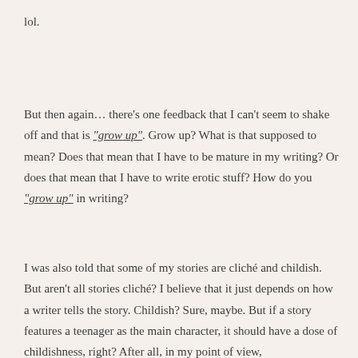lol.
But then again… there's one feedback that I can't seem to shake off and that is "grow up". Grow up? What is that supposed to mean? Does that mean that I have to be mature in my writing? Or does that mean that I have to write erotic stuff? How do you "grow up" in writing?
I was also told that some of my stories are cliché and childish. But aren't all stories cliché? I believe that it just depends on how a writer tells the story. Childish? Sure, maybe. But if a story features a teenager as the main character, it should have a dose of childishness, right? After all, in my point of view,